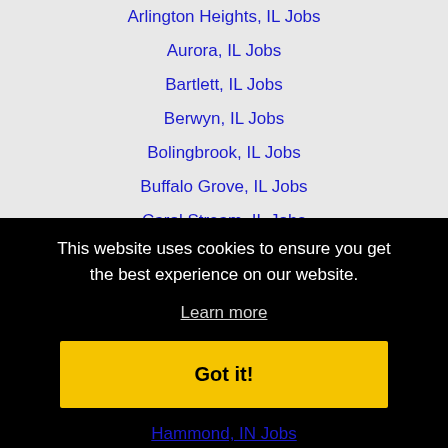Arlington Heights, IL Jobs
Aurora, IL Jobs
Bartlett, IL Jobs
Berwyn, IL Jobs
Bolingbrook, IL Jobs
Buffalo Grove, IL Jobs
Carol Stream, IL Jobs
Chicago, IL Jobs
Cicero, IL Jobs
Crystal Lake, IL Jobs
This website uses cookies to ensure you get the best experience on our website.
Learn more
Got it!
Hammond, IN Jobs